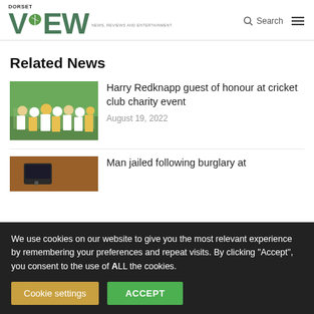[Figure (logo): Dorset View logo with green leaf and tagline NEWS, REVIEWS AND ENTERTAINMENT]
Related News
[Figure (photo): Cricket team group photo on a field, players in white and yellow uniforms]
Harry Redknapp guest of honour at cricket club charity event
August 19, 2022
[Figure (photo): Close-up photo of a dark object on a wooden surface]
Man jailed following burglary at
We use cookies on our website to give you the most relevant experience by remembering your preferences and repeat visits. By clicking "Accept", you consent to the use of ALL the cookies.
Cookie settings
ACCEPT